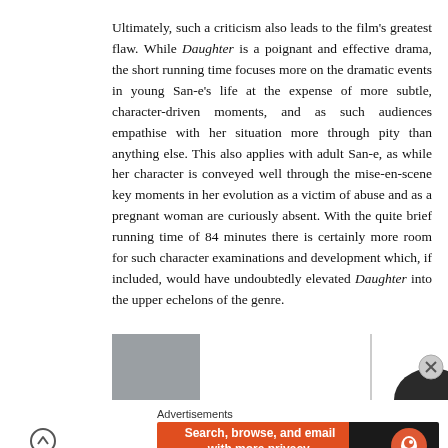Ultimately, such a criticism also leads to the film's greatest flaw. While Daughter is a poignant and effective drama, the short running time focuses more on the dramatic events in young San-e's life at the expense of more subtle, character-driven moments, and as such audiences empathise with her situation more through pity than anything else. This also applies with adult San-e, as while her character is conveyed well through the mise-en-scene key moments in her evolution as a victim of abuse and as a pregnant woman are curiously absent. With the quite brief running time of 84 minutes there is certainly more room for such character examinations and development which, if included, would have undoubtedly elevated Daughter into the upper echelons of the genre.
[Figure (photo): Partial images at bottom of page: a gray rectangle on the left, a vertical divider, and a partial dark circle/photo on the right suggesting profile photos or article images]
Advertisements
[Figure (infographic): DuckDuckGo advertisement banner: orange background on left with text 'Search, browse, and email with more privacy. All in One Free App' and DuckDuckGo logo on dark right side]